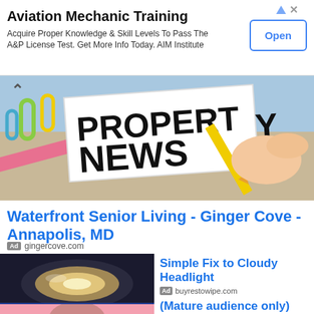[Figure (infographic): Top banner ad for Aviation Mechanic Training with Open button, ad icons]
Aviation Mechanic Training
Acquire Proper Knowledge & Skill Levels To Pass The A&P License Test. Get More Info Today. AIM Institute
[Figure (photo): Property News sign with paper clips, pink ruler, and hand holding pencil]
Waterfront Senior Living - Ginger Cove - Annapolis, MD
Ad  gingercove.com
[Figure (photo): Cloudy car headlight close-up photo]
Simple Fix to Cloudy Headlight
Ad  buyrestowipe.com
[Figure (photo): Woman portrait photo on pink background]
(Mature audience only)
Ad  Tips and Tricks